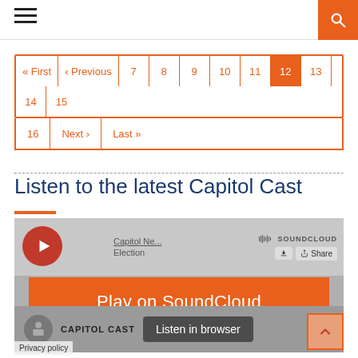Navigation header with hamburger menu and search button
[Figure (screenshot): Pagination navigation showing pages First, Previous, 7, 8, 9, 10, 11, 12 (active/highlighted), 13, 14, 15, 16, Next, Last]
Listen to the latest Capitol Cast
[Figure (screenshot): SoundCloud embedded player for Capitol Cast - Election episode, with Play on SoundCloud orange button and Listen in browser button overlaid]
Privacy policy